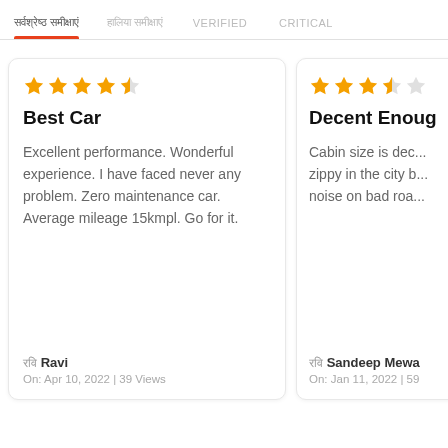सर्वश्रेष्ठ समीक्षाएं | हालिया समीक्षाएं | VERIFIED | CRITICAL
Best Car — ★★★★½ — Excellent performance. Wonderful experience. I have faced never any problem. Zero maintenance car. Average mileage 15kmpl. Go for it. — रवि Ravi — On: Apr 10, 2022 | 39 Views
Decent Enough — ★★★½☆ — Cabin size is deco... zippy in the city b... noise on bad roa... — रवि Sandeep Mewa... — On: Jan 11, 2022 | 59...